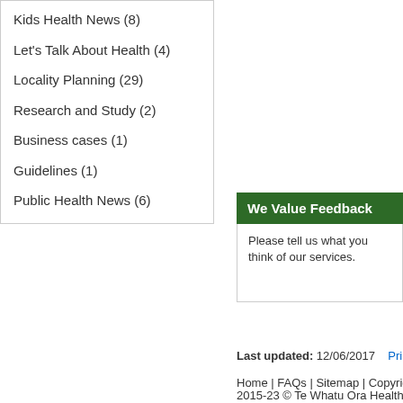Kids Health News (8)
Let's Talk About Health (4)
Locality Planning (29)
Research and Study (2)
Business cases (1)
Guidelines (1)
Public Health News (6)
We Value Feedback
Please tell us what you think of our services.
Last updated: 12/06/2017    Print
Home | FAQs | Sitemap | Copyright
2015-23 © Te Whatu Ora Health NZ - N